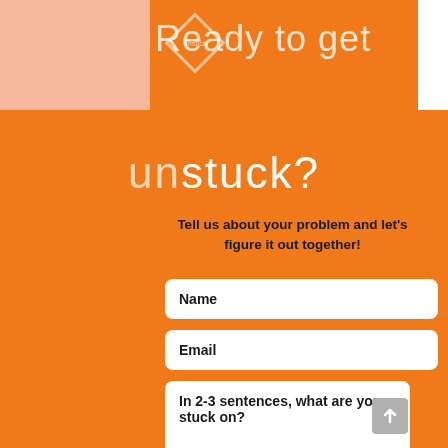[Figure (logo): Diamond-shaped logo with 'unstick' text inside, overlapping with title text]
Ready to get unstuck?
Tell us about your problem and let's figure it out together!
Name
Email
In 2-3 sentences, what are you stuck on?